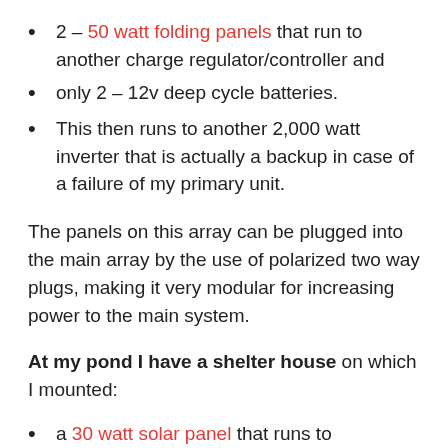2 – 50 watt folding panels that run to another charge regulator/controller and
only 2 – 12v deep cycle batteries.
This then runs to another 2,000 watt inverter that is actually a backup in case of a failure of my primary unit.
The panels on this array can be plugged into the main array by the use of polarized two way plugs, making it very modular for increasing power to the main system.
At my pond I have a shelter house on which I mounted:
a 30 watt solar panel that runs to